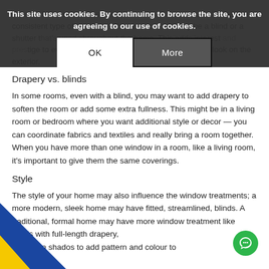In some homes, it makes sense to cover all the windows in one consistent type of treatment. For instance, this may be a blind or a shutter that's used throughout the home. This adds interest and privilege to every room, and it gives your home a uniform look on the exterior.
[Figure (other): Cookie consent banner overlay with text 'This site uses cookies. By continuing to browse the site, you are agreeing to our use of cookies.' and two buttons: OK and More]
Drapery vs. blinds
In some rooms, even with a blind, you may want to add drapery to soften the room or add some extra fullness. This might be in a living room or bedroom where you want additional style or decor — you can coordinate fabrics and textiles and really bring a room together. When you have more than one window in a room, like a living room, it's important to give them the same coverings.
Style
The style of your home may also influence the window treatments; a more modern, sleek home may have fitted, streamlined, blinds. A traditional, formal home may have more window treatment like blinds with full-length drapery, od roman shados to add pattern and colour to
[Figure (illustration): Diagonal blue and yellow flag/banner decoration in bottom-left corner]
[Figure (other): Green circular chat button in bottom-right corner]